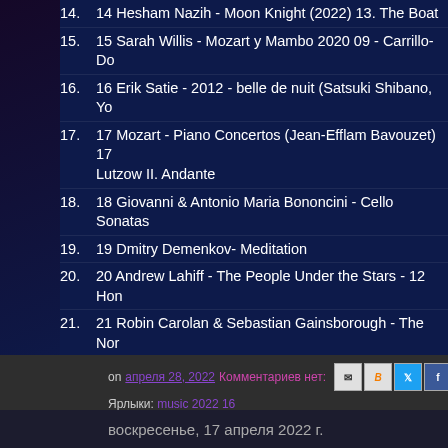14. 14 Hesham Nazih - Moon Knight (2022) 13. The Boat
15. 15 Sarah Willis - Mozart y Mambo 2020 09 - Carrillo- Do
16. 16 Erik Satie - 2012 - belle de nuit (Satsuki Shibano, Yo
17. 17 Mozart - Piano Concertos (Jean-Efflam Bavouzet) 17 Lutzow II. Andante
18. 18 Giovanni & Antonio Maria Bononcini - Cello Sonatas
19. 19 Dmitry Demenkov- Meditation
20. 20 Andrew Lahiff - The People Under the Stars - 12 Hon
21. 21 Robin Carolan & Sebastian Gainsborough - The Nort Valhalla
22. 22 Erik Wollo - 2022 - Sojourns 10 - Chrysalis
23. 23 Roger Eno - The Turning Year (2022) 14. Low Cloud,
on апреля 28, 2022   Комментариев нет:
Ярлыки: music 2022 16
воскресенье, 17 апреля 2022 г.
The Best of Visual neoclassical Omdaru radio - 2022 -